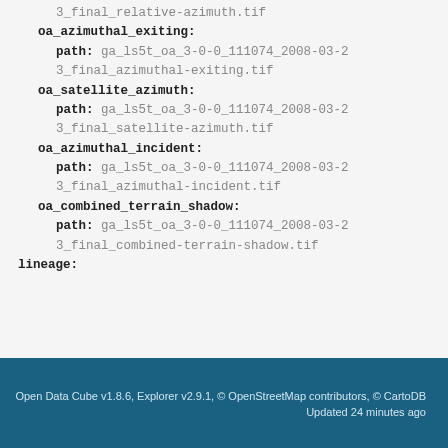3_final_relative-azimuth.tif
oa_azimuthal_exiting:
  path: ga_ls5t_oa_3-0-0_111074_2008-03-23_final_azimuthal-exiting.tif
oa_satellite_azimuth:
  path: ga_ls5t_oa_3-0-0_111074_2008-03-23_final_satellite-azimuth.tif
oa_azimuthal_incident:
  path: ga_ls5t_oa_3-0-0_111074_2008-03-23_final_azimuthal-incident.tif
oa_combined_terrain_shadow:
  path: ga_ls5t_oa_3-0-0_111074_2008-03-23_final_combined-terrain-shadow.tif
lineage:
Open Data Cube v1.8.6, Explorer v2.9.1, © OpenStreetMap contributors, © CartoDB
Updated 24 minutes ago